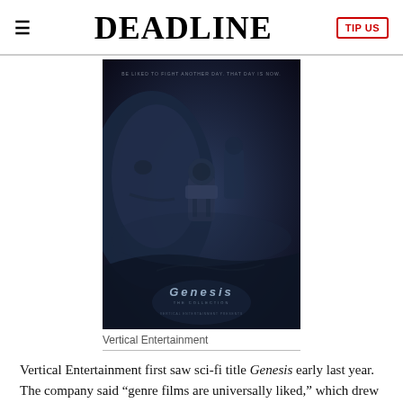DEADLINE
[Figure (photo): Movie poster for 'Genesis' sci-fi film showing a dark moody blue-toned image with faces and a robotic figure, with the title 'Genesis' at the bottom]
Vertical Entertainment
Vertical Entertainment first saw sci-fi title Genesis early last year. The company said “genre films are universally liked,” which drew its attention. Added Vertical’s Hannah Lawrence: “I especially liked that John Hannah is part of the cast. [The film] incorporates many relevant elements relating to what’s happening [in the world]